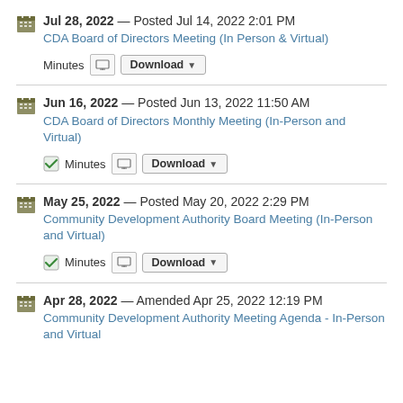Jul 28, 2022 — Posted Jul 14, 2022 2:01 PM
CDA Board of Directors Meeting (In Person & Virtual)
Minutes  Download
Jun 16, 2022 — Posted Jun 13, 2022 11:50 AM
CDA Board of Directors Monthly Meeting (In-Person and Virtual)
Minutes  Download
May 25, 2022 — Posted May 20, 2022 2:29 PM
Community Development Authority Board Meeting (In-Person and Virtual)
Minutes  Download
Apr 28, 2022 — Amended Apr 25, 2022 12:19 PM
Community Development Authority Meeting Agenda - In-Person and Virtual